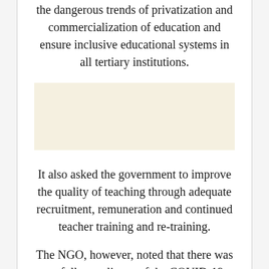the dangerous trends of privatization and commercialization of education and ensure inclusive educational systems in all tertiary institutions.
[Figure (other): A beige/cream colored rectangular box, likely a redacted or placeholder image region.]
It also asked the government to improve the quality of teaching through adequate recruitment, remuneration and continued teacher training and re-training.
The NGO, however, noted that there was no full compliance of the COVID-19 protocols in some of the schools that were recently reopened and warned against the spread of the deadly disease.